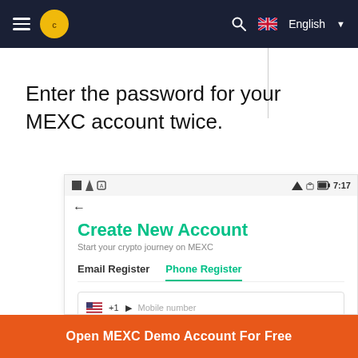[Figure (screenshot): MEXC crypto exchange website navigation bar with hamburger menu, logo, search icon, and English language selector]
Enter the password for your MEXC account twice.
[Figure (screenshot): MEXC mobile app screenshot showing Create New Account screen with Phone Register tab selected, mobile number field, SMS code field with Get code button, and password field highlighted in red]
Open MEXC Demo Account For Free